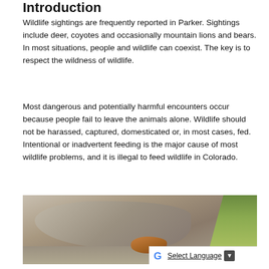Introduction
Wildlife sightings are frequently reported in Parker. Sightings include deer, coyotes and occasionally mountain lions and bears. In most situations, people and wildlife can coexist. The key is to respect the wildness of wildlife.
Most dangerous and potentially harmful encounters occur because people fail to leave the animals alone. Wildlife should not be harassed, captured, domesticated or, in most cases, fed. Intentional or inadvertent feeding is the major cause of most wildlife problems, and it is illegal to feed wildlife in Colorado.
[Figure (photo): A wildlife photo showing a rocky ground with sparse dry grass and a small animal (likely a chipmunk or ground squirrel) near the center, with green vegetation visible on the right side.]